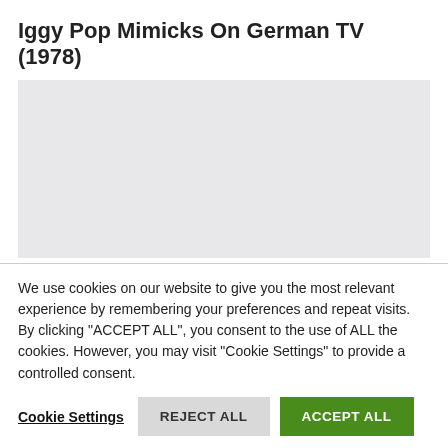Iggy Pop Mimicks On German TV (1978)
[Figure (other): Video placeholder — light grey rectangle representing an embedded video player]
We use cookies on our website to give you the most relevant experience by remembering your preferences and repeat visits. By clicking "ACCEPT ALL", you consent to the use of ALL the cookies. However, you may visit "Cookie Settings" to provide a controlled consent.
Cookie Settings   REJECT ALL   ACCEPT ALL